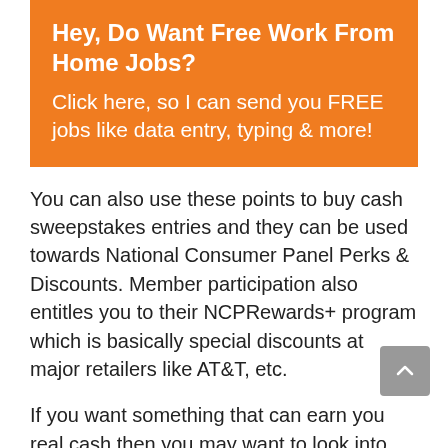[Figure (infographic): Orange advertisement banner with white bold text: 'Hey, Do Want Free Work From Home Jobs?' and body text 'Click here, so I can send you FREE jobs like data entry, typing & more!']
You can also use these points to buy cash sweepstakes entries and they can be used towards National Consumer Panel Perks & Discounts. Member participation also entitles you to their NCPRewards+ program which is basically special discounts at major retailers like AT&T, etc.
If you want something that can earn you real cash then you may want to look into Fusion